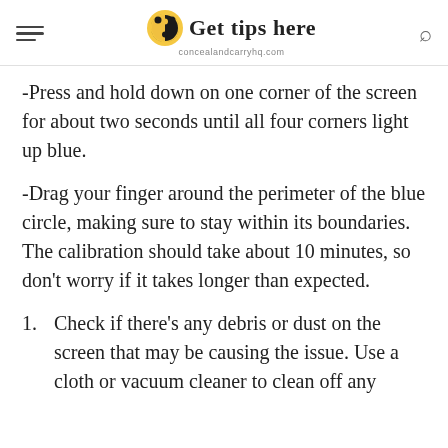Get tips here — concealandcarryhq.com
-Press and hold down on one corner of the screen for about two seconds until all four corners light up blue.
-Drag your finger around the perimeter of the blue circle, making sure to stay within its boundaries. The calibration should take about 10 minutes, so don't worry if it takes longer than expected.
1. Check if there's any debris or dust on the screen that may be causing the issue. Use a cloth or vacuum cleaner to clean off any